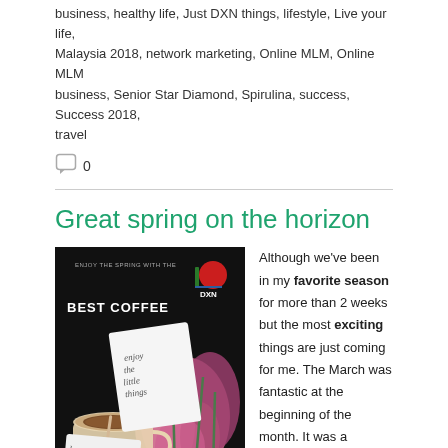business, healthy life, Just DXN things, lifestyle, Live your life, Malaysia 2018, network marketing, Online MLM, Online MLM business, Senior Star Diamond, Spirulina, success, Success 2018, travel
0
Great spring on the horizon
[Figure (photo): Photo of a cup of coffee on a dark surface alongside pink and purple tulips, with handwritten notes 'enjoy the little things' and 'love coffee', and a DXN logo in the top right corner. Text overlay reads 'BEST COFFEE'.]
Although we've been in my favorite season for more than 2 weeks but the most exciting things are just coming for me. The March was fantastic at the beginning of the month. It was a pleasant spring weather and we started the month with a fantastic DXN birthday seminar in Budapest.

Unfortunately the winter is back but this weather won't